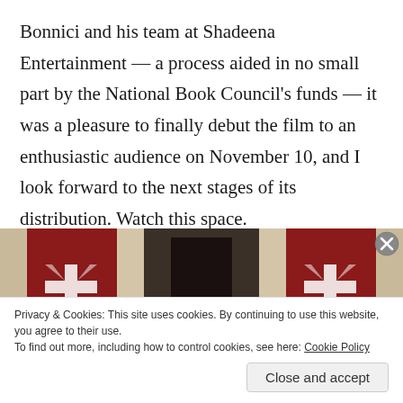Bonnici and his team at Shadeena Entertainment — a process aided in no small part by the National Book Council's funds — it was a pleasure to finally debut the film to an enthusiastic audience on November 10, and I look forward to the next stages of its distribution. Watch this space.
[Figure (photo): Interior hallway of a stone building decorated with red banners bearing the Maltese cross emblem, viewed from the entrance looking down the corridor.]
Privacy & Cookies: This site uses cookies. By continuing to use this website, you agree to their use.
To find out more, including how to control cookies, see here: Cookie Policy
Close and accept